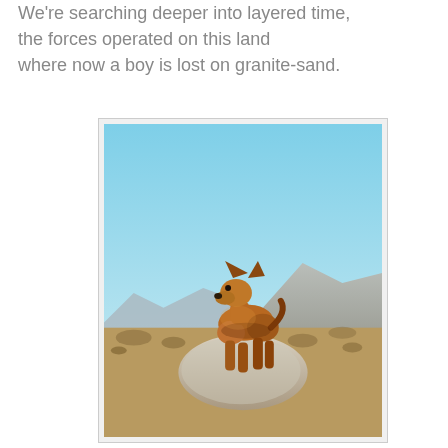We're searching deeper into layered time,
the forces operated on this land
where now a boy is lost on granite-sand.
[Figure (photo): A German Shepherd dog standing on a large granite boulder in a desert landscape, with blue sky and mountains in the background.]